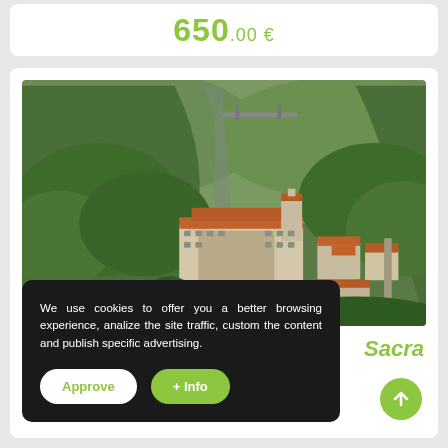650.00 €
[Figure (photo): Aerial view of a monastery with orange/terracotta roofs surrounded by dense green forested hills and a river gorge with a viaduct bridge in the background. Stone buildings of a village are visible to the right.]
Sacra
We use cookies to offer you a better browsing experience, analize the site traffic, custom the content and publish specific advertising.
Approve
+ Info